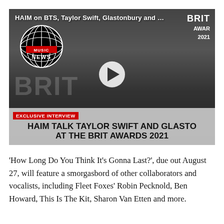[Figure (screenshot): Video thumbnail from NME showing HAIM at the BRIT Awards 2021. Three women are talking/laughing outdoors. The NME Music News globe logo is visible top-left. A play button is in the center. Top text reads 'HAIM on BTS, Taylor Swift, Glastonbury and ...' with 'BRIT AWARDS 2021' in the top right corner. A red 'EXCLUSIVE INTERVIEW' banner overlays the lower portion above the headline 'HAIM TALK TAYLOR SWIFT AND GLASTO AT THE BRIT AWARDS 2021'.]
'How Long Do You Think It's Gonna Last?', due out August 27, will feature a smorgasbord of other collaborators and vocalists, including Fleet Foxes' Robin Pecknold, Ben Howard, This Is The Kit, Sharon Van Etten and more.